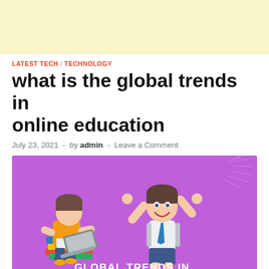[Figure (illustration): Light yellow banner/advertisement area at top of page]
LATEST TECH / TECHNOLOGY
what is the global trends in online education
July 23, 2021  -  by admin  -  Leave a Comment
[Figure (illustration): Purple background illustration with two cartoon characters: a student sitting on books using a laptop (left) and a happy schoolboy with arms raised wearing a backpack (right). Text reads 'GLOBAL TRENDS IN ONLINE EDUCATION' at bottom right.]